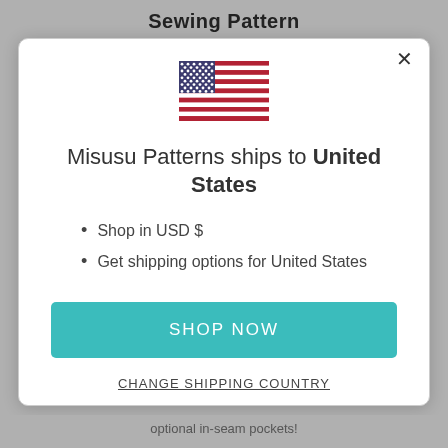Sewing Pattern
[Figure (illustration): American flag (USA) emoji/icon centered in modal dialog]
Misusu Patterns ships to United States
Shop in USD $
Get shipping options for United States
SHOP NOW
CHANGE SHIPPING COUNTRY
optional in-seam pockets!